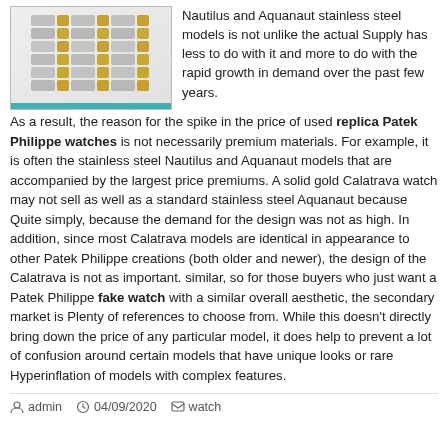[Figure (photo): Close-up photo of a watch bracelet with alternating silver and gold links against a white fabric background]
Nautilus and Aquanaut stainless steel models is not unlike the actual Supply has less to do with it and more to do with the rapid growth in demand over the past few years.
As a result, the reason for the spike in the price of used replica Patek Philippe watches is not necessarily premium materials. For example, it is often the stainless steel Nautilus and Aquanaut models that are accompanied by the largest price premiums. A solid gold Calatrava watch may not sell as well as a standard stainless steel Aquanaut because Quite simply, because the demand for the design was not as high. In addition, since most Calatrava models are identical in appearance to other Patek Philippe creations (both older and newer), the design of the Calatrava is not as important. similar, so for those buyers who just want a Patek Philippe fake watch with a similar overall aesthetic, the secondary market is Plenty of references to choose from. While this doesn't directly bring down the price of any particular model, it does help to prevent a lot of confusion around certain models that have unique looks or rare Hyperinflation of models with complex features.
admin  04/09/2020  watch